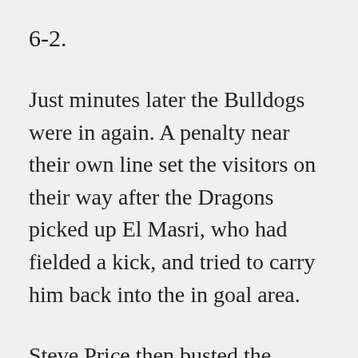6-2.
Just minutes later the Bulldogs were in again. A penalty near their own line set the visitors on their way after the Dragons picked up El Masri, who had fielded a kick, and tried to carry him back into the in goal area.
Steve Price then busted the Dragons' line and his pass put Tony Grimaldi